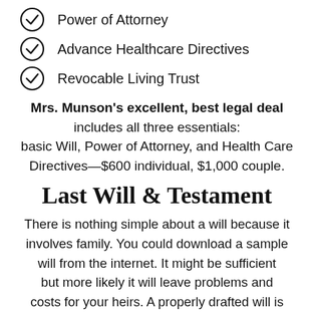Power of Attorney
Advance Healthcare Directives
Revocable Living Trust
Mrs. Munson's excellent, best legal deal includes all three essentials: basic Will, Power of Attorney, and Health Care Directives—$600 individual, $1,000 couple.
Last Will & Testament
There is nothing simple about a will because it involves family. You could download a sample will from the internet. It might be sufficient but more likely it will leave problems and costs for your heirs. A properly drafted will is